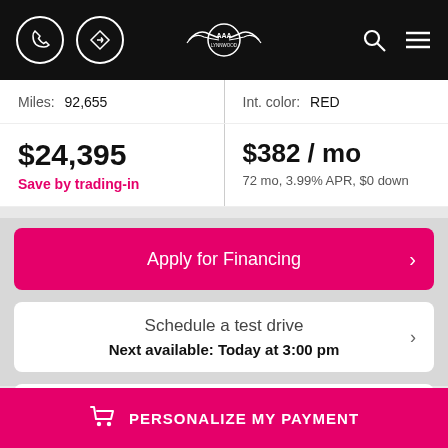[Figure (screenshot): Mobile app navigation bar with phone icon, directions icon, dealership logo (winged emblem), search icon, and hamburger menu on black background]
Miles: 92,655
Int. color: RED
$24,395
Save by trading-in
$382 / mo
72 mo, 3.99% APR, $0 down
Apply for Financing
Schedule a test drive
Next available: Today at 3:00 pm
Ask a question
PERSONALIZE MY PAYMENT